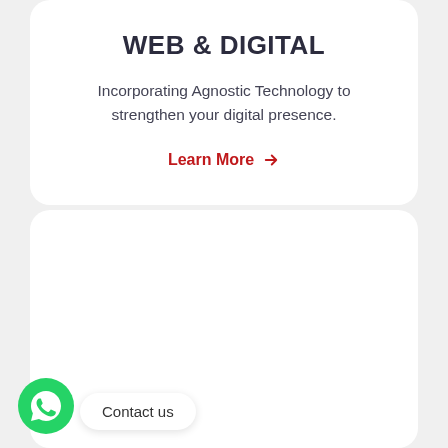WEB & DIGITAL
Incorporating Agnostic Technology to strengthen your digital presence.
Learn More →
VERTISING
Ideas that can tell, form brands that can
[Figure (other): WhatsApp contact button (green circle with phone icon) and 'Contact us' pill label]
Contact us